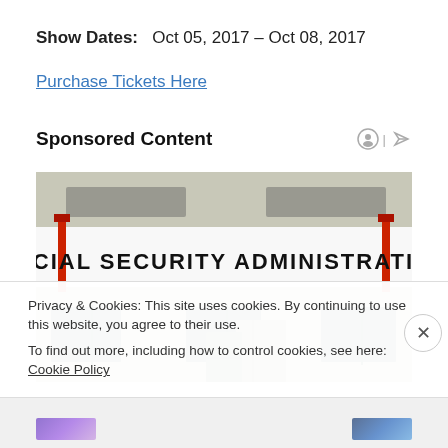Show Dates:   Oct 05, 2017 – Oct 08, 2017
Purchase Tickets Here
Sponsored Content
[Figure (photo): Exterior of a Social Security Administration building with a large banner reading 'SOCIAL SECURITY ADMINISTRATION' in bold black text on a white background, flanked by red poles. The building facade shows windows and a glass entrance door.]
Privacy & Cookies: This site uses cookies. By continuing to use this website, you agree to their use. To find out more, including how to control cookies, see here: Cookie Policy
Close and accept